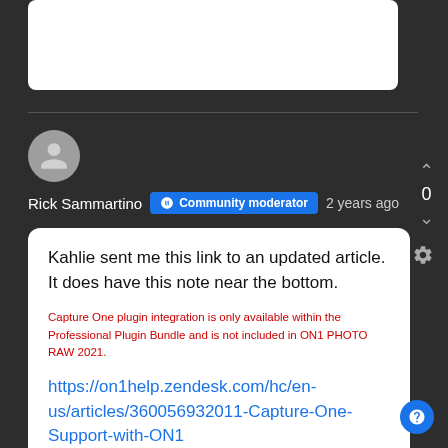[Figure (screenshot): Partial white card visible at top, cut off]
Rick Sammartino  Community moderator  2 years ago
Kahlie sent me this link to an updated article. It does have this note near the bottom.
Capture One plugin integration is only available within the Professional Plugin Bundle and is not included in ON1 PHOTO RAW 2021.
https://on1help.zendesk.com/hc/en-us/articles/360056932011-Capture-One-Support-with-ON1